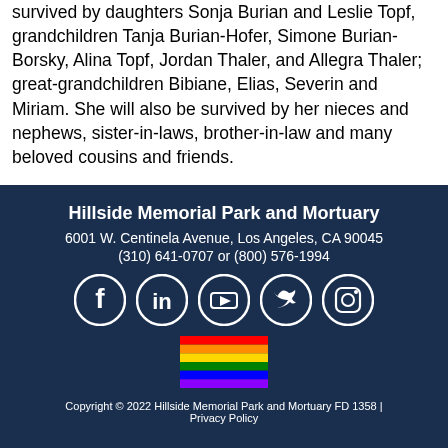survived by daughters Sonja Burian and Leslie Topf, grandchildren Tanja Burian-Hofer, Simone Burian-Borsky, Alina Topf, Jordan Thaler, and Allegra Thaler; great-grandchildren Bibiane, Elias, Severin and Miriam. She will also be survived by her nieces and nephews, sister-in-laws, brother-in-law and many beloved cousins and friends.
Hillside Memorial Park and Mortuary
6001 W. Centinela Avenue, Los Angeles, CA 90045
(310) 641-0707 or (800) 576-1994
[Figure (illustration): Five social media icons in white circles on dark blue background: Facebook, LinkedIn, YouTube, Twitter, Instagram]
[Figure (illustration): Rainbow pride flag with horizontal stripes: red, orange, yellow, green, blue, purple]
Copyright © 2022 Hillside Memorial Park and Mortuary FD 1358 | Privacy Policy